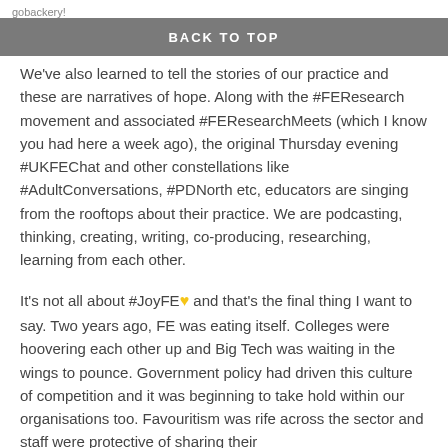gobackery!
BACK TO TOP
We've also learned to tell the stories of our practice and these are narratives of hope. Along with the #FEResearch movement and associated #FEResearchMeets (which I know you had here a week ago), the original Thursday evening #UKFEChat and other constellations like #AdultConversations, #PDNorth etc, educators are singing from the rooftops about their practice. We are podcasting, thinking, creating, writing, co-producing, researching, learning from each other.
It's not all about #JoyFE 💛 and that's the final thing I want to say. Two years ago, FE was eating itself. Colleges were hoovering each other up and Big Tech was waiting in the wings to pounce. Government policy had driven this culture of competition and it was beginning to take hold within our organisations too. Favouritism was rife across the sector and staff were protective of sharing their